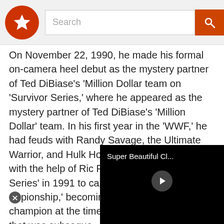Search
On November 22, 1990, he made his formal on-camera heel debut as the mystery partner of Ted DiBiase's 'Million Dollar team on 'Survivor Series,' where he appeared as the mystery partner of Ted DiBiase's 'Million Dollar' team. In his first year in the 'WWF,' he had feuds with Randy Savage, the Ultimate Warrior, and Hulk Hogan. He defeated Hogan with the help of Ric Flair at 'The Survivor Series' in 1991 to capture his first 'WWF Championship,' becoming the youngest 'WWF' champion at the time, a record that was subsequently broken by Brock Lesnar and Yokozuna.

Over the next few years he continued to rise, but a back problem sidelined him for several months of action. In 1994, he returned to the
[Figure (screenshot): Video player overlay showing 'Super Beautiful Cl...' title with play button on black background]